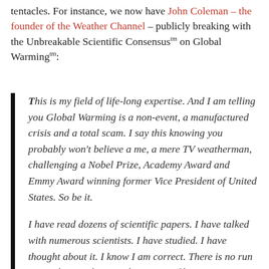tentacles. For instance, we now have John Coleman – the founder of the Weather Channel – publicly breaking with the Unbreakable Scientific Consensus™ on Global Warming™:
This is my field of life-long expertise. And I am telling you Global Warming is a non-event, a manufactured crisis and a total scam. I say this knowing you probably won't believe a me, a mere TV weatherman, challenging a Nobel Prize, Academy Award and Emmy Award winning former Vice President of United States. So be it.

I have read dozens of scientific papers. I have talked with numerous scientists. I have studied. I have thought about it. I know I am correct. There is no run away climate change. The impact of humans on climate is not catastrophic. Our planet is not in peril. I am incensed by the incredible media